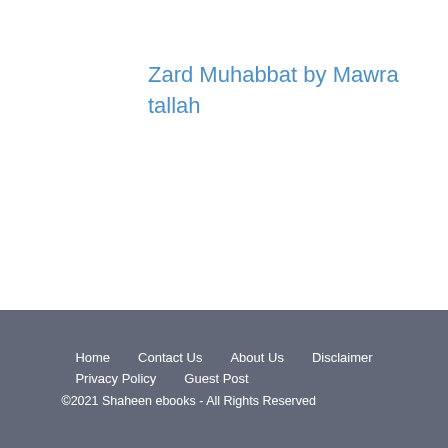Zard Muhabbat by Mawra tallah
Home  Contact Us  About Us  Disclaimer  Privacy Policy  Guest Post  ©2021 Shaheen ebooks - All Rights Reserved